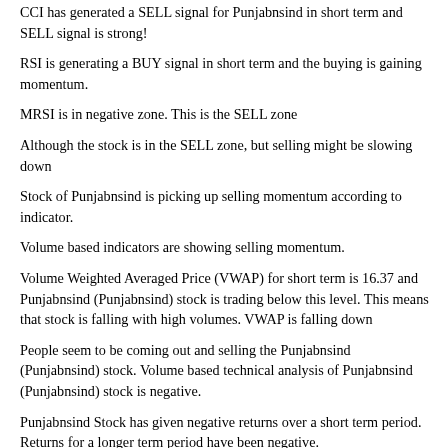CCI has generated a SELL signal for Punjabnsind in short term and SELL signal is strong!
RSI is generating a BUY signal in short term and the buying is gaining momentum.
MRSI is in negative zone. This is the SELL zone
Although the stock is in the SELL zone, but selling might be slowing down
Stock of Punjabnsind is picking up selling momentum according to indicator.
Volume based indicators are showing selling momentum.
Volume Weighted Averaged Price (VWAP) for short term is 16.37 and Punjabnsind (Punjabnsind) stock is trading below this level. This means that stock is falling with high volumes. VWAP is falling down
People seem to be coming out and selling the Punjabnsind (Punjabnsind) stock. Volume based technical analysis of Punjabnsind (Punjabnsind) stock is negative.
Punjabnsind Stock has given negative returns over a short term period. Returns for a longer term period have been negative.